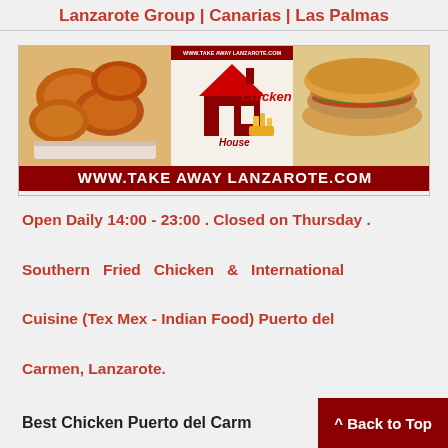Lanzarote Group | Canarias | Las Palmas
[Figure (photo): Banner advertisement for Chicken House takeaway restaurant showing fried chicken on left, logo with house icon and fries in center, and a sandwich/kebab on right, with URL www.takeawaylanzarote.com displayed prominently at top and bottom of banner]
Open Daily 14:00 - 23:00 . Closed on Thursday . Southern Fried Chicken & International Cuisine (Tex Mex - Indian Food) Puerto del Carmen, Lanzarote.
Best Chicken Puerto del Carm
^ Back to Top